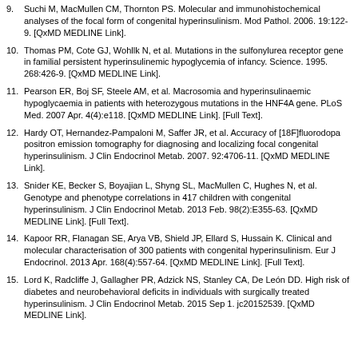9. Suchi M, MacMullen CM, Thornton PS. Molecular and immunohistochemical analyses of the focal form of congenital hyperinsulinism. Mod Pathol. 2006. 19:122-9. [QxMD MEDLINE Link].
10. Thomas PM, Cote GJ, Wohllk N, et al. Mutations in the sulfonylurea receptor gene in familial persistent hyperinsulinemic hypoglycemia of infancy. Science. 1995. 268:426-9. [QxMD MEDLINE Link].
11. Pearson ER, Boj SF, Steele AM, et al. Macrosomia and hyperinsulinaemic hypoglycaemia in patients with heterozygous mutations in the HNF4A gene. PLoS Med. 2007 Apr. 4(4):e118. [QxMD MEDLINE Link]. [Full Text].
12. Hardy OT, Hernandez-Pampaloni M, Saffer JR, et al. Accuracy of [18F]fluorodopa positron emission tomography for diagnosing and localizing focal congenital hyperinsulinism. J Clin Endocrinol Metab. 2007. 92:4706-11. [QxMD MEDLINE Link].
13. Snider KE, Becker S, Boyajian L, Shyng SL, MacMullen C, Hughes N, et al. Genotype and phenotype correlations in 417 children with congenital hyperinsulinism. J Clin Endocrinol Metab. 2013 Feb. 98(2):E355-63. [QxMD MEDLINE Link]. [Full Text].
14. Kapoor RR, Flanagan SE, Arya VB, Shield JP, Ellard S, Hussain K. Clinical and molecular characterisation of 300 patients with congenital hyperinsulinism. Eur J Endocrinol. 2013 Apr. 168(4):557-64. [QxMD MEDLINE Link]. [Full Text].
15. Lord K, Radcliffe J, Gallagher PR, Adzick NS, Stanley CA, De León DD. High risk of diabetes and neurobehavioral deficits in individuals with surgically treated hyperinsulinism. J Clin Endocrinol Metab. 2015 Sep 1. jc20152539. [QxMD MEDLINE Link].